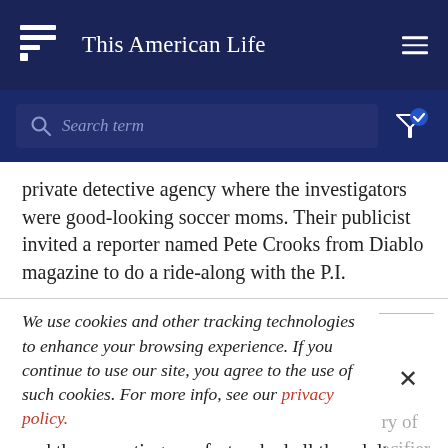This American Life
[Figure (screenshot): Search bar with placeholder text 'Search term' and filter icon with checkmark]
private detective agency where the investigators were good-looking soccer moms. Their publicist invited a reporter named Pete Crooks from Diablo magazine to do a ride-along with the P.I.
We use cookies and other tracking technologies to enhance your browsing experience. If you continue to use our site, you agree to the use of such cookies. For more info, see our privacy policy.
and then, wanting comfort, asked all the adults around